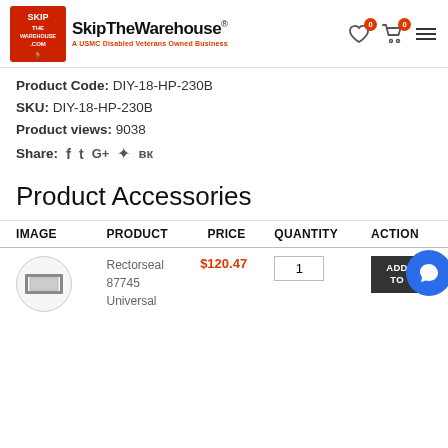[Figure (logo): SkipTheWarehouse logo with tagline 'A USMC Disabled Veterans Owned Business']
Product Code: DIY-18-HP-230B
SKU: DIY-18-HP-230B
Product views: 9038
Share: f t G+ pinterest VK
Product Accessories
| IMAGE | PRODUCT | PRICE | QUANTITY | ACTION |
| --- | --- | --- | --- | --- |
| [image] | Rectorseal 87745 Universal | $120.47 | 1 | ADD TO |